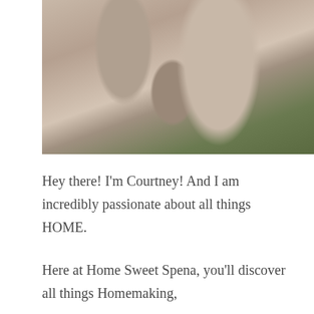[Figure (photo): Close-up photo of a couple embracing. A woman in a light pink/beige long-sleeve top wraps her arms around a man wearing a beige/tan cardigan. Green foliage is visible in the background.]
Hey there! I'm Courtney! And I am incredibly passionate about all things HOME.
Here at Home Sweet Spena, you'll discover all things Homemaking,